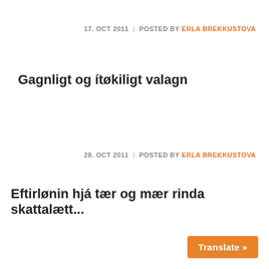17. OCT 2011 | POSTED BY ERLA BREKKUSTOVA
Gagnligt og ítøkiligt valagn
28. OCT 2011 | POSTED BY ERLA BREKKUSTOVA
Eftirlønin hjá tær og mær rinda skattalætt...
Translate »